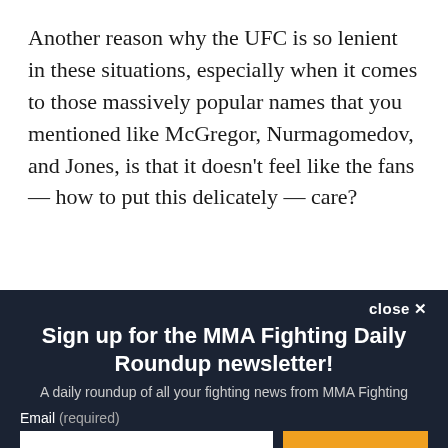Another reason why the UFC is so lenient in these situations, especially when it comes to those massively popular names that you mentioned like McGregor, Nurmagomedov, and Jones, is that it doesn't feel like the fans — how to put this delicately — care?
Assuming I'm not overselling the level of fan apathy here, is
[Figure (screenshot): Newsletter signup modal with dark navy background. Title: 'Sign up for the MMA Fighting Daily Roundup newsletter!'. Subtitle: 'A daily roundup of all your fighting news from MMA Fighting'. Email input field and orange SUBSCRIBE button. Disclaimer text about Terms and Privacy Notice, reCAPTCHA, Google Privacy Policy and Terms of Service.]